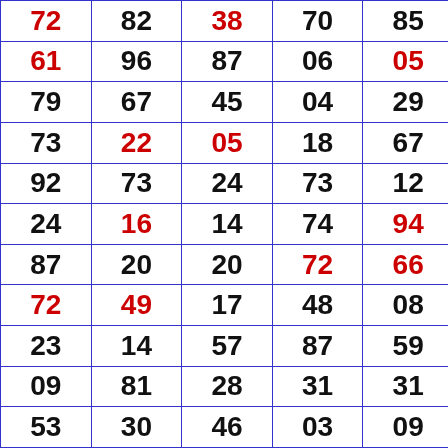| 72 | 82 | 38 | 70 | 85 |
| 61 | 96 | 87 | 06 | 05 |
| 79 | 67 | 45 | 04 | 29 |
| 73 | 22 | 05 | 18 | 67 |
| 92 | 73 | 24 | 73 | 12 |
| 24 | 16 | 14 | 74 | 94 |
| 87 | 20 | 20 | 72 | 66 |
| 72 | 49 | 17 | 48 | 08 |
| 23 | 14 | 57 | 87 | 59 |
| 09 | 81 | 28 | 31 | 31 |
| 53 | 30 | 46 | 03 | 09 |